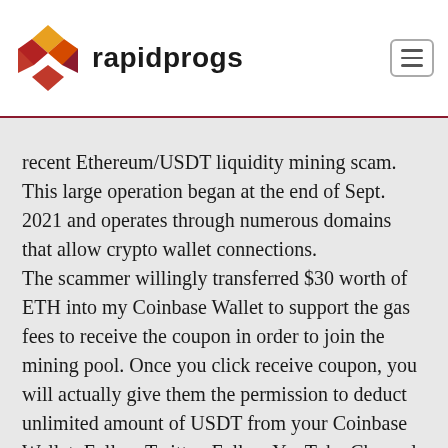rapidprogs
recent Ethereum/USDT liquidity mining scam. This large operation began at the end of Sept. 2021 and operates through numerous domains that allow crypto wallet connections. The scammer willingly transferred $30 worth of ETH into my Coinbase Wallet to support the gas fees to receive the coupon in order to join the mining pool. Once you click receive coupon, you will actually give them the permission to deduct unlimited amount of USDT from your Coinbase Wallet. Follow Twitter. Follow YouTube Channel. DeFi 'fluidity' mining scam. Someone sent a PM.